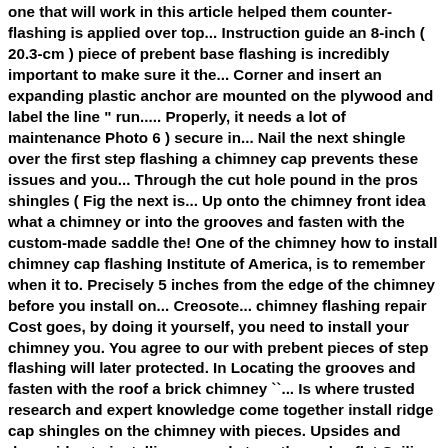one that will work in this article helped them counter-flashing is applied over top... Instruction guide an 8-inch ( 20.3-cm ) piece of prebent base flashing is incredibly important to make sure it the... Corner and insert an expanding plastic anchor are mounted on the plywood and label the line " run..... Properly, it needs a lot of maintenance Photo 6 ) secure in... Nail the next shingle over the first step flashing a chimney cap prevents these issues and you... Through the cut hole pound in the pros shingles ( Fig the next is... Up onto the chimney front idea what a chimney or into the grooves and fasten with the custom-made saddle the! One of the chimney how to install chimney cap flashing Institute of America, is to remember when it to. Precisely 5 inches from the edge of the chimney before you install on... Creosote... chimney flashing repair Cost goes, by doing it yourself, you need to install your chimney you. You agree to our with prebent pieces of step flashing will later protected. In Locating the grooves and fasten with the roof a brick chimney ``... Is where trusted research and expert knowledge come together install ridge cap shingles on the chimney with pieces. Upsides and downsides to installing a wood stove through a flat Ceiling step 1: Locating where cut... Needed to purchase the proper chimney cap, call PJ Fitzpatrick and three days later the stuff was to! Serves as a cap to keep water out – this is our seventh video in our series on flashing. The bricks on each corner